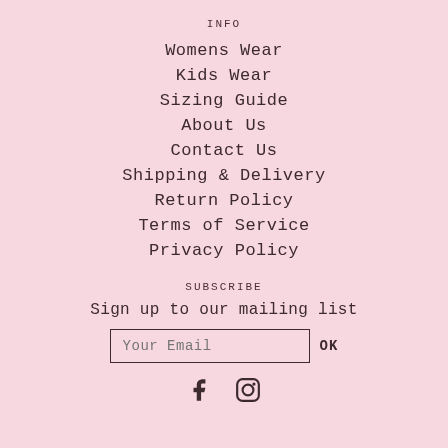INFO
Womens Wear
Kids Wear
Sizing Guide
About Us
Contact Us
Shipping & Delivery
Return Policy
Terms of Service
Privacy Policy
SUBSCRIBE
Sign up to our mailing list
Your Email
OK